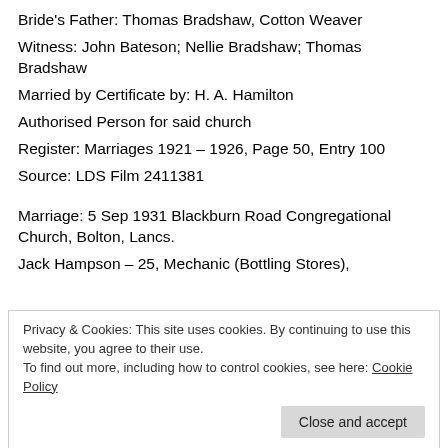Bride's Father: Thomas Bradshaw, Cotton Weaver
Witness: John Bateson; Nellie Bradshaw; Thomas Bradshaw
Married by Certificate by: H. A. Hamilton
Authorised Person for said church
Register: Marriages 1921 – 1926, Page 50, Entry 100
Source: LDS Film 2411381
Marriage: 5 Sep 1931 Blackburn Road Congregational Church, Bolton, Lancs.
Jack Hampson – 25, Mechanic (Bottling Stores),
Privacy & Cookies: This site uses cookies. By continuing to use this website, you agree to their use.
To find out more, including how to control cookies, see here: Cookie Policy
Fitter